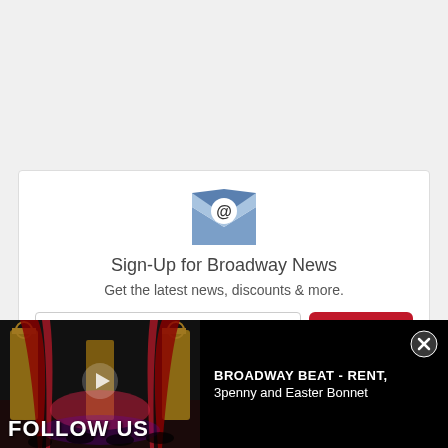[Figure (infographic): Email envelope icon with @ symbol, blue/white color]
Sign-Up for Broadway News
Get the latest news, discounts & more.
E-mail address
Sign Up
[Figure (screenshot): Broadway theater interior video thumbnail with red curtains and stage lighting, play button overlay, FOLLOW US text at bottom left]
BROADWAY BEAT - RENT, 3penny and Easter Bonnet